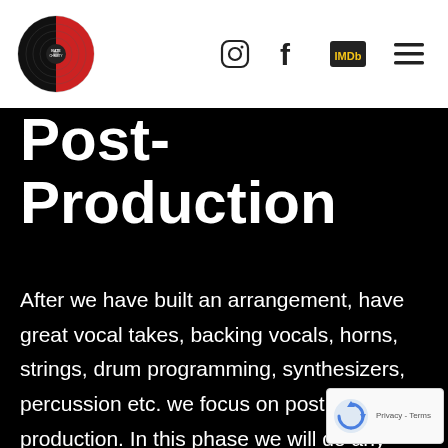Nate Christy — Post Production
Post Production
After we have built an arrangement, have great vocal takes, backing vocals, horns, strings, drum programming, synthesizers, percussion etc. we focus on post production. In this phase we will do any necessary pitch correction and timing edits. Though we might be doing some mixing along the way when all editing is finished we then shift focus into mixing and feel affect before